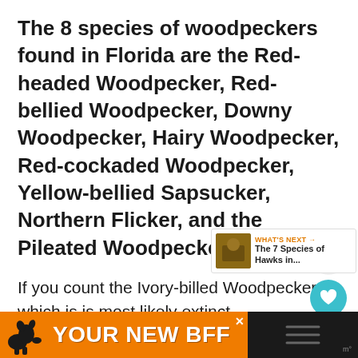The 8 species of woodpeckers found in Florida are the Red-headed Woodpecker, Red-bellied Woodpecker, Downy Woodpecker, Hairy Woodpecker, Red-cockaded Woodpecker, Yellow-bellied Sapsucker, Northern Flicker, and the Pileated Woodpecker.
If you count the Ivory-billed Woodpecker which is is most likely extinct the would make 9.
[Figure (infographic): Advertisement banner at bottom: orange background with dog silhouette and text 'YOUR NEW BFF']